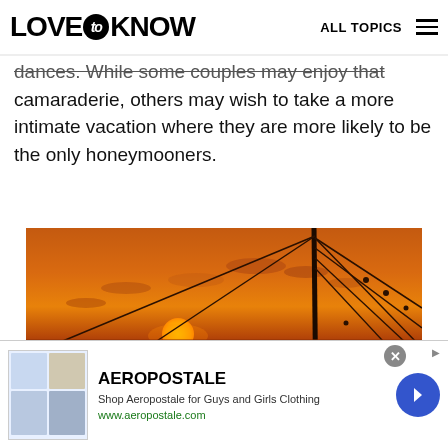LOVE to KNOW   ALL TOPICS
dances. While some couples may enjoy that camaraderie, others may wish to take a more intimate vacation where they are more likely to be the only honeymooners.
[Figure (photo): Sunset over the ocean viewed from a sailboat, with mast and rigging visible, orange and red sky reflected on water]
AEROPOSTALE
Shop Aeropostale for Guys and Girls Clothing
www.aeropostale.com